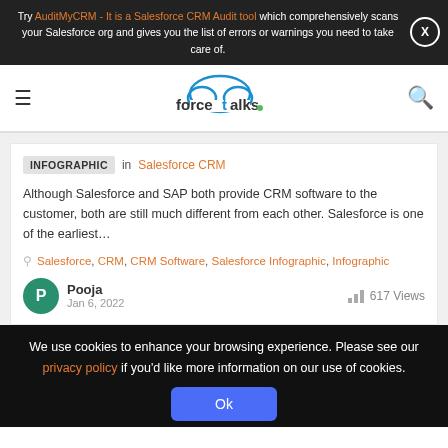Try AuditMyCRM - It is a Salesforce CRM Audit tool which comprehensively scans your Salesforce org and gives you the list of errors or warnings you need to take care of.
[Figure (logo): forcetalks. logo with cloud icon]
INFOGRAPHIC in Salesforce CRM
Although Salesforce and SAP both provide CRM software to the customer, both are still much different from each other. Salesforce is one of the earliest…
Salesforce, CRM, CRM Software, Salesforce Infographic, Infographic
Pooja
Jan 6, 2022
617 Views
We use cookies to enhance your browsing experience. Please see our privacy policy if you'd like more information on our use of cookies.
Ok